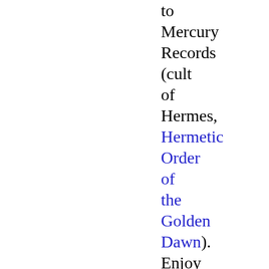to Mercury Records (cult of Hermes, Hermetic Order of the Golden Dawn). Enjoy Records releases Grandmaster